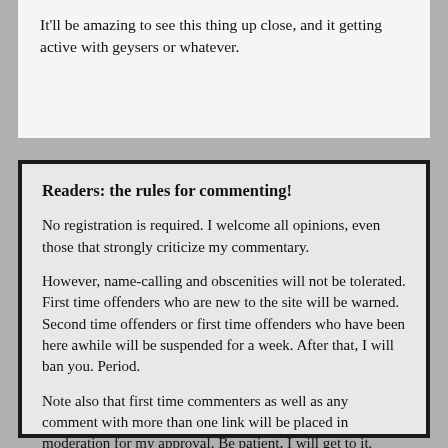It'll be amazing to see this thing up close, and it getting active with geysers or whatever.
Readers: the rules for commenting!
No registration is required. I welcome all opinions, even those that strongly criticize my commentary.
However, name-calling and obscenities will not be tolerated. First time offenders who are new to the site will be warned. Second time offenders or first time offenders who have been here awhile will be suspended for a week. After that, I will ban you. Period.
Note also that first time commenters as well as any comment with more than one link will be placed in moderation for my approval. Be patient, I will get to it.